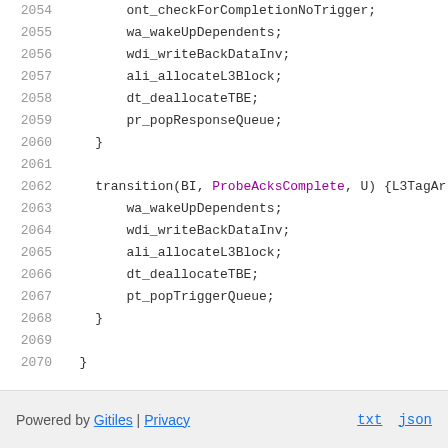2054    ont_checkForCompletionNoTrigger;
2055    wa_wakeUpDependents;
2056    wdi_writeBackDataInv;
2057    ali_allocateL3Block;
2058    dt_deallocateTBE;
2059    pr_popResponseQueue;
2060    }
2061
2062    transition(BI, ProbeAcksComplete, U) {L3TagAr
2063        wa_wakeUpDependents;
2064        wdi_writeBackDataInv;
2065        ali_allocateL3Block;
2066        dt_deallocateTBE;
2067        pt_popTriggerQueue;
2068    }
2069
2070  }
Powered by Gitiles | Privacy    txt  json